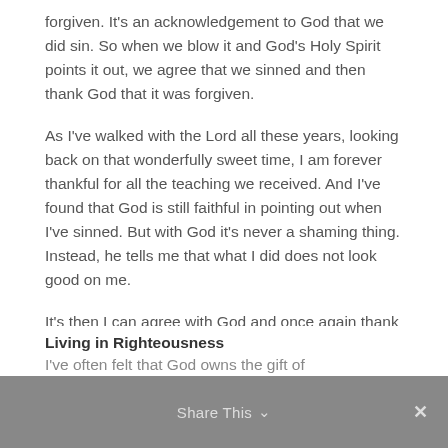forgiven. It's an acknowledgement to God that we did sin. So when we blow it and God's Holy Spirit points it out, we agree that we sinned and then thank God that it was forgiven.
As I've walked with the Lord all these years, looking back on that wonderfully sweet time, I am forever thankful for all the teaching we received. And I've found that God is still faithful in pointing out when I've sinned. But with God it's never a shaming thing. Instead, he tells me that what I did does not look good on me.
It's then I can agree with God and once again thank him for sending Jesus for me. If we sinned and never acknowledged it, we would somehow devalue the payment Jesus made. We would perhaps act like entitled children who don't care if we blow it. After all, it's forgiven, isn't it?
Living in Righteousness
I've often felt that God owns the gift of righteousness...
Share This ∨  ✕